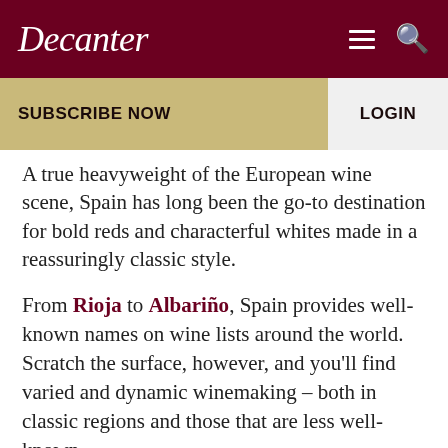Decanter
SUBSCRIBE NOW    LOGIN
A true heavyweight of the European wine scene, Spain has long been the go-to destination for bold reds and characterful whites made in a reassuringly classic style.
From Rioja to Albariño, Spain provides well-known names on wine lists around the world. Scratch the surface, however, and you'll find varied and dynamic winemaking – both in classic regions and those that are less well-known.